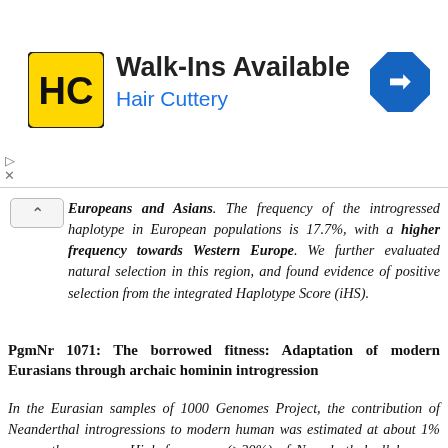[Figure (other): Advertisement banner for Hair Cuttery salon showing logo (HC in yellow circle), text 'Walk-Ins Available' and 'Hair Cuttery' in blue, and a blue navigation/directions icon on the right.]
Europeans and Asians. The frequency of the introgressed haplotype in European populations is 17.7%, with a higher frequency towards Western Europe. We further evaluated natural selection in this region, and found evidence of positive selection from the integrated Haplotype Score (iHS).
PgmNr 1071: The borrowed fitness: Adaptation of modern Eurasians through archaic hominin introgression
In the Eurasian samples of 1000 Genomes Project, the contribution of Neanderthal introgressions to modern human was estimated at about 1% across the genome. High frequency (>30%) of Neanderthal alleles was found in genes related to inflammatory response, epigenetic modification, spermatogenesis, neuron development, etc. In particular, Neanderthal introgression in HYAL2 and MC1R, two genes related to response to sunlight, may